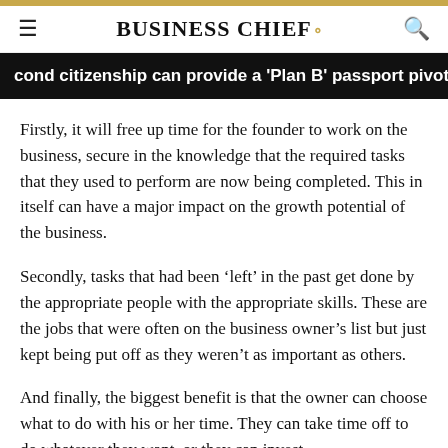BUSINESS CHIEF.
cond citizenship can provide a 'Plan B' passport pivot
Firstly, it will free up time for the founder to work on the business, secure in the knowledge that the required tasks that they used to perform are now being completed. This in itself can have a major impact on the growth potential of the business.
Secondly, tasks that had been ‘left’ in the past get done by the appropriate people with the appropriate skills. These are the jobs that were often on the business owner’s list but just kept being put off as they weren’t as important as others.
And finally, the biggest benefit is that the owner can choose what to do with his or her time. They can take time off to do whatever they want, or they can invest